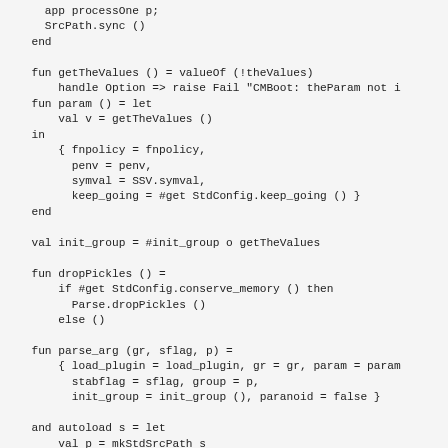[Figure (other): Source code listing in a monospace font showing SML/ML-style functional programming code with functions getTheValues, param, dropPickles, parse_arg, autoload and related constructs.]